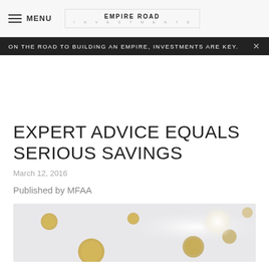MENU | EMPIRE ROAD INVESTMENTS
ON THE ROAD TO BUILDING AN EMPIRE, INVESTMENTS ARE KEY.
EXPERT ADVICE EQUALS SERIOUS SAVINGS
March 12, 2016
Published by MFAA
[Figure (photo): Gold coins scattered on a light grey background with soft light]